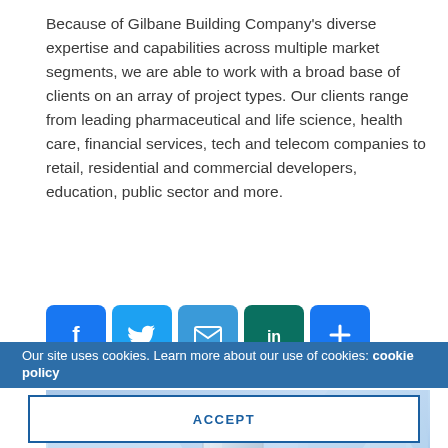Because of Gilbane Building Company's diverse expertise and capabilities across multiple market segments, we are able to work with a broad base of clients on an array of project types. Our clients range from leading pharmaceutical and life science, health care, financial services, tech and telecom companies to retail, residential and commercial developers, education, public sector and more.
[Figure (infographic): Social sharing buttons: Facebook (blue), Twitter (light blue), Email (blue), LinkedIn (teal/green), AddThis share (blue plus icon)]
[Figure (photo): Close-up photo of a microscope objective lens being held by a gloved hand in a laboratory setting with blue-toned background]
Our site uses cookies. Learn more about our use of cookies: cookie policy
ACCEPT